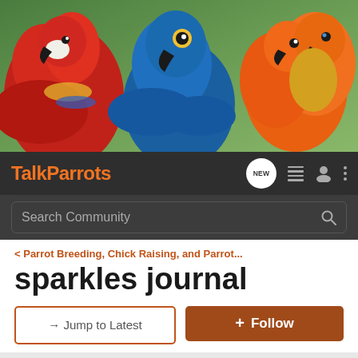[Figure (photo): Banner photo showing three parrots: a red scarlet macaw on the left, a blue hyacinth macaw in the center, and orange/yellow sun conures on the right, against a green blurred background.]
TalkParrots — navigation bar with logo, NEW button, list icon, user icon, and menu icon
Search Community
< Parrot Breeding, Chick Raising, and Parrot...
sparkles journal
→ Jump to Latest
+ Follow
Hey everyone! Enter our First Day Photo Contest and Giveaway HERE